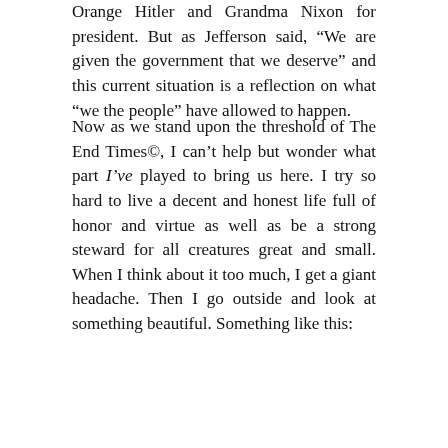Orange Hitler and Grandma Nixon for president. But as Jefferson said, “We are given the government that we deserve” and this current situation is a reflection on what “we the people” have allowed to happen.
Now as we stand upon the threshold of The End Times©, I can’t help but wonder what part I’ve played to bring us here. I try so hard to live a decent and honest life full of honor and virtue as well as be a strong steward for all creatures great and small. When I think about it too much, I get a giant headache. Then I go outside and look at something beautiful. Something like this:
[Figure (screenshot): YouTube video thumbnail showing 'The Secret Life of Donald Trum...' with MYD channel logo (green circle) and a cat lying in grass visible in the video frame.]